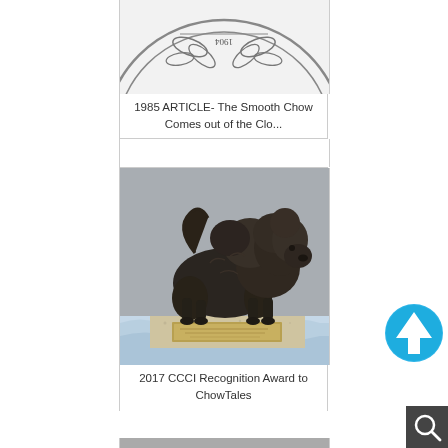[Figure (photo): Partial view of a circular seal/logo, shown rotated/upside down, with text around the edge including 'PRESERVATION OF THE' and decorative elements, on a light background.]
1985 ARTICLE- The Smooth Chow Comes out of the Clo...
[Figure (photo): A bronze sculpture/statue of a Chow Chow dog in profile (facing right), mounted on a granite/marble base with a brass plaque. The background shows a light blue patterned surface.]
2017 CCCI Recognition Award to ChowTales